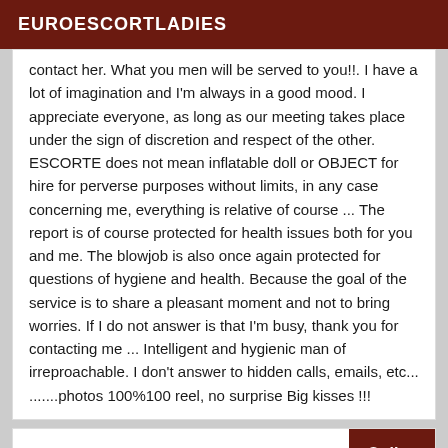EUROESCORTLADIES
contact her. What you men will be served to you!!. I have a lot of imagination and I'm always in a good mood. I appreciate everyone, as long as our meeting takes place under the sign of discretion and respect of the other. ESCORTE does not mean inflatable doll or OBJECT for hire for perverse purposes without limits, in any case concerning me, everything is relative of course ... The report is of course protected for health issues both for you and me. The blowjob is also once again protected for questions of hygiene and health. Because the goal of the service is to share a pleasant moment and not to bring worries. If I do not answer is that I'm busy, thank you for contacting me ... Intelligent and hygienic man of irreproachable. I don't answer to hidden calls, emails, etc... .......photos 100%100 reel, no surprise Big kisses !!!
Online